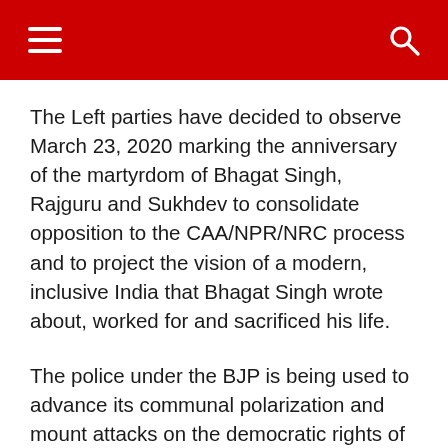Navigation menu and search
The Left parties have decided to observe March 23, 2020 marking the anniversary of the martyrdom of Bhagat Singh, Rajguru and Sukhdev to consolidate opposition to the CAA/NPR/NRC process and to project the vision of a modern, inclusive India that Bhagat Singh wrote about, worked for and sacrificed his life.
The police under the BJP is being used to advance its communal polarization and mount attacks on the democratic rights of the people to organize peaceful protests. The brazen attacks at Jamia Millia University, Aligarh Muslim University followed by the attack by masked goons under police protection at JNU, continued with vicious attacks in Uttar Pradesh, other BJP ruled states